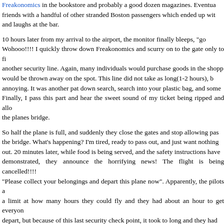Freakonomics in the bookstore and probably a good dozen magazines. Eventually made friends with a handful of other stranded Boston passengers which ended up with drinks and laughs at the bar.
10 hours later from my arrival to the airport, the monitor finally bleeps, "go Wohooo!!!! I quickly throw down Freakonomics and scurry on to the gate only to find another security line. Again, many individuals would purchase goods in the shoppe would be thrown away on the spot. This line did not take as long(1-2 hours), b annoying. It was another pat down search, search into your plastic bag, and some Finally, I pass this part and hear the sweet sound of my ticket being ripped and allo the planes bridge.
So half the plane is full, and suddenly they close the gates and stop allowing pas the bridge. What's happening? I'm tired, ready to pass out, and just want nothing out. 20 minutes later, while food is being served, and the safety instructions have demonstrated, they announce the horrifying news! The flight is being cancelled!!!! "Please collect your belongings and depart this plane now". Apparently, the pilots a a limit at how many hours they could fly and they had about an hour to get everyon depart, but because of this last security check point, it took to long and they had flight while we were freakin sitting in the plane. You think this is bad, just wait to liste
So at this point, its about 1 am, many passengers are angry, a few are asked fo after they air out their frustration. What are we suppose to do! "Please return in the try to re-book your tickets". Now check this out, to freakin leave the terminal re somewhat go though another security check point. We had to use the emergenc required some security guards card to get through a few doors. Eventually we fou in the customs check-in point, but where are we flying in from? At the customs poin that out flight was just cancelled and they continuously ask us where did we just We were in London, checking back into London. Eventually the chaos allowed us to
Ok, now we are in baggage claim and are told our luggage is on the plane and it c off. They claim it will be best for us to leave everything checked in and just wai flight, though some are told it may take 3-4 days for this. Please leave the bagga go to the main reservations desk outside!!! Will we have to go through the 10 hou lines again!!!
Ok, we leave the luggage area and return back to the main airport where anyo follow a flock of passengers to the reservations desk where workers are stresse